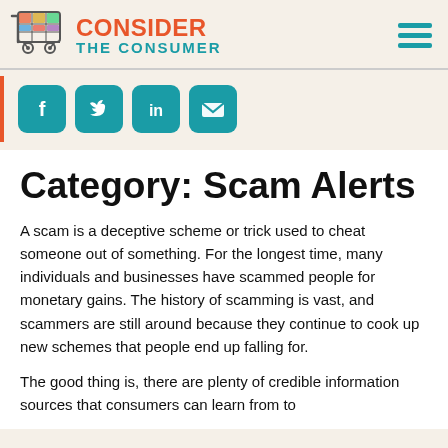Consider The Consumer
[Figure (logo): Consider The Consumer logo with shopping cart icon and hamburger menu]
[Figure (infographic): Social media share icons: Facebook, Twitter, LinkedIn, Email]
Category: Scam Alerts
A scam is a deceptive scheme or trick used to cheat someone out of something. For the longest time, many individuals and businesses have scammed people for monetary gains. The history of scamming is vast, and scammers are still around because they continue to cook up new schemes that people end up falling for.
The good thing is, there are plenty of credible information sources that consumers can learn from to